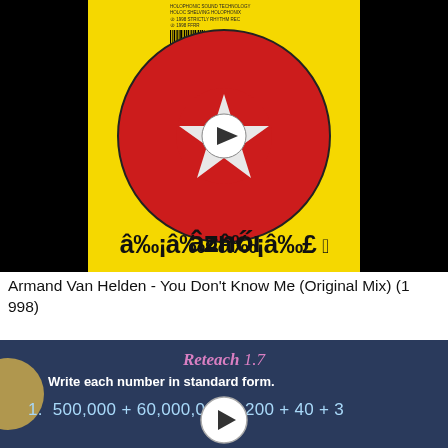[Figure (photo): Music record cover for Armand Van Helden - You Don't Know Me. Yellow background with red circle containing white crescent and star, with a play button icon in the center. Black borders on left and right. Label text in stylized font at bottom of cover.]
Armand Van Helden - You Don't Know Me (Original Mix) (1 998)
[Figure (screenshot): Educational math screenshot with dark blue background. Title reads 'Reteach 1.7', instruction says 'Write each number in standard form.' Problem 1 shows: 500,000 + 60,000 + 000 + 200 + 40 + 3. A circular play button overlaps part of the math expression.]